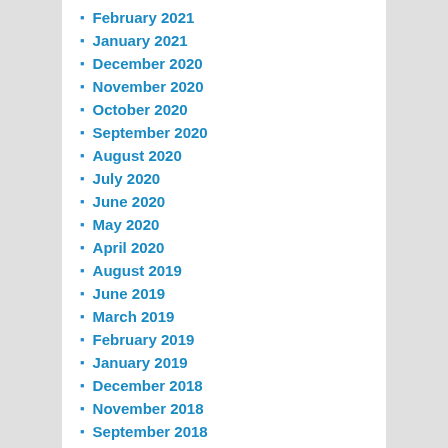February 2021
January 2021
December 2020
November 2020
October 2020
September 2020
August 2020
July 2020
June 2020
May 2020
April 2020
August 2019
June 2019
March 2019
February 2019
January 2019
December 2018
November 2018
September 2018
July 2018
June 2018